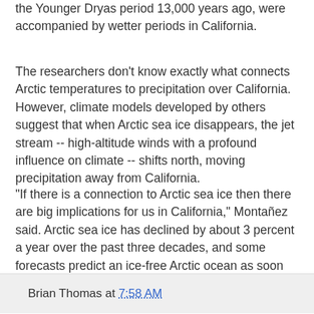the Younger Dryas period 13,000 years ago, were accompanied by wetter periods in California.
The researchers don't know exactly what connects Arctic temperatures to precipitation over California. However, climate models developed by others suggest that when Arctic sea ice disappears, the jet stream -- high-altitude winds with a profound influence on climate -- shifts north, moving precipitation away from California.
"If there is a connection to Arctic sea ice then there are big implications for us in California," Montañez said. Arctic sea ice has declined by about 3 percent a year over the past three decades, and some forecasts predict an ice-free Arctic ocean as soon as 2020….
A sliced stalagmite speleothem from California's McLean's Cave in the Sierra Nevada foothills. (Credit: Isabel Montañez / Dept. of Geology, University of California, Davis)
Brian Thomas at 7:58 AM